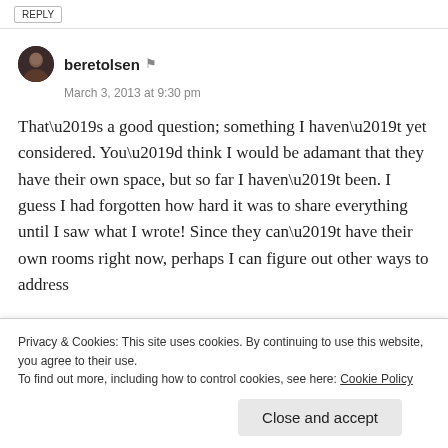REPLY
beretolsen
March 3, 2013 at 9:30 pm
That’s a good question; something I haven’t yet considered. You’d think I would be adamant that they have their own space, but so far I haven’t been. I guess I had forgotten how hard it was to share everything until I saw what I wrote! Since they can’t have their own rooms right now, perhaps I can figure out other ways to address
Privacy & Cookies: This site uses cookies. By continuing to use this website, you agree to their use.
To find out more, including how to control cookies, see here: Cookie Policy
Close and accept